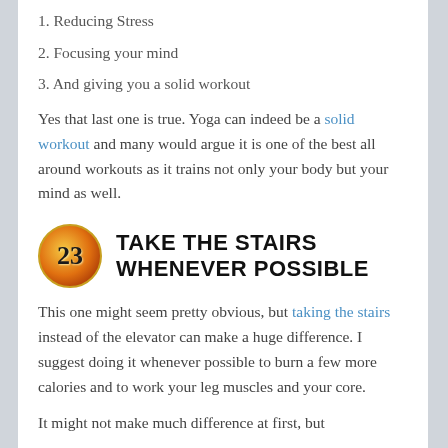1. Reducing Stress
2. Focusing your mind
3. And giving you a solid workout
Yes that last one is true. Yoga can indeed be a solid workout and many would argue it is one of the best all around workouts as it trains not only your body but your mind as well.
TAKE THE STAIRS WHENEVER POSSIBLE
This one might seem pretty obvious, but taking the stairs instead of the elevator can make a huge difference. I suggest doing it whenever possible to burn a few more calories and to work your leg muscles and your core.
It might not make much difference at first, but